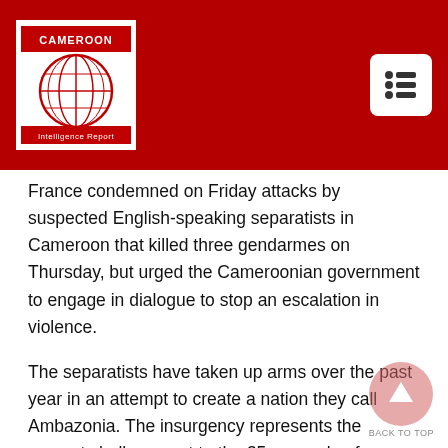[Figure (logo): Cameroon Intelligence Report logo — globe icon with CAMEROON text above and Intelligence Report below, on white background, within dark red header]
France condemned on Friday attacks by suspected English-speaking separatists in Cameroon that killed three gendarmes on Thursday, but urged the Cameroonian government to engage in dialogue to stop an escalation in violence.
The separatists have taken up arms over the past year in an attempt to create a nation they call Ambazonia. The insurgency represents the gravest challenge yet to the 35-year rule of Cameroon's President Paul Biya.
France, which has significant business interests in its colony and relies on it to fight against Islamist militants, has been careful not to overly criticize the government's handling of the crisis.